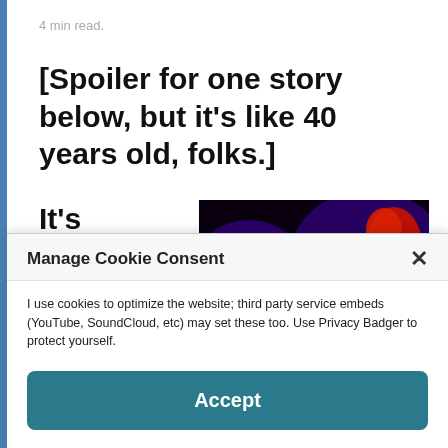4 min read.
[Spoiler for one story below, but it's like 40 years old, folks.]
It's interesting, going back and re-reading the
[Figure (photo): A colorful, heavily processed/filtered photo of a person with orange/yellow face tones under purple/blue lighting, facing downward. Dark background with vivid color saturation.]
Manage Cookie Consent
I use cookies to optimize the website; third party service embeds (YouTube, SoundCloud, etc) may set these too. Use Privacy Badger to protect yourself.
Accept